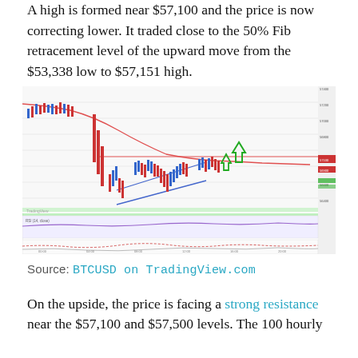A high is formed near $57,100 and the price is now correcting lower. It traded close to the 50% Fib retracement level of the upward move from the $53,338 low to $57,151 high.
[Figure (screenshot): BTCUSD candlestick chart on TradingView showing price action with red/blue candles, a descending red curve (moving average), a horizontal red resistance line, a blue ascending channel, green arrow indicators, and technical indicator panels below (RSI and volume/MACD). Price levels labeled on right axis. TradingView watermark visible.]
Source: BTCUSD on TradingView.com
On the upside, the price is facing a strong resistance near the $57,100 and $57,500 levels. The 100 hourly